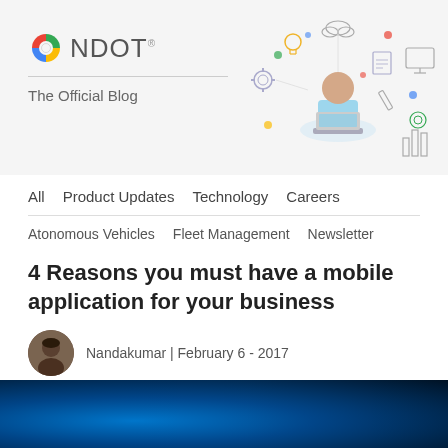[Figure (logo): NDOT logo with Google-style multicolor circle icon and text 'NDOT' with trademark symbol, subtitle 'The Official Blog']
[Figure (illustration): Line-art tech illustration showing a person at a computer surrounded by various technology icons including gears, cloud, charts, devices, and connectivity symbols]
All   Product Updates   Technology   Careers
Atonomous Vehicles   Fleet Management   Newsletter
4 Reasons you must have a mobile application for your business
Nandakumar | February 6 - 2017
[Figure (photo): Bottom banner photo with dark blue gradient background, partial view of a tech-themed image]